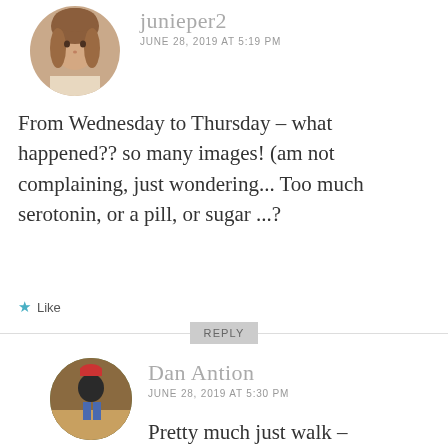junieper2
JUNE 28, 2019 AT 5:19 PM
From Wednesday to Thursday – what happened?? so many images! (am not complaining, just wondering... Too much serotonin, or a pill, or sugar ...?
Like
REPLY
Dan Antion
JUNE 28, 2019 AT 5:30 PM
Pretty much just walk –